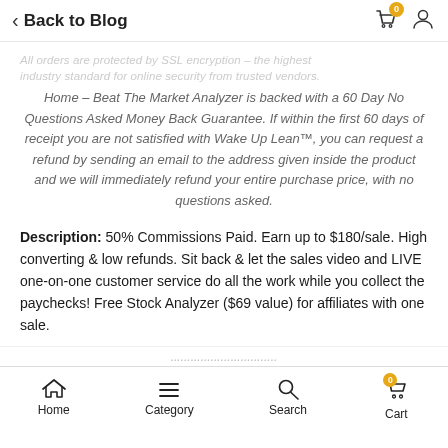< Back to Blog
Home – Beat The Market Analyzer is backed with a 60 Day No Questions Asked Money Back Guarantee. If within the first 60 days of receipt you are not satisfied with Wake Up Lean™, you can request a refund by sending an email to the address given inside the product and we will immediately refund your entire purchase price, with no questions asked.
Description: 50% Commissions Paid. Earn up to $180/sale. High converting & low refunds. Sit back & let the sales video and LIVE one-on-one customer service do all the work while you collect the paychecks! Free Stock Analyzer ($69 value) for affiliates with one sale.
Home  Category  Search  Cart